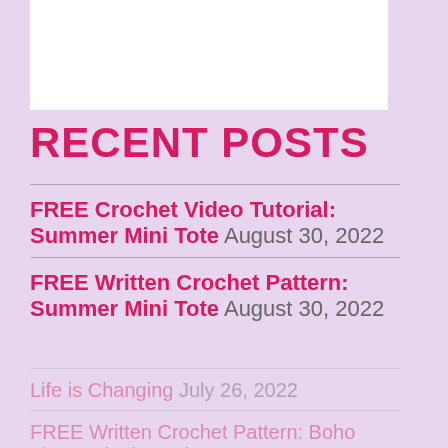[Figure (other): White rectangle placeholder image area at the top of the page]
RECENT POSTS
FREE Crochet Video Tutorial: Summer Mini Tote August 30, 2022
FREE Written Crochet Pattern: Summer Mini Tote August 30, 2022
Life is Changing July 26, 2022
FREE Written Crochet Pattern: Boho Throw Blanket July 14,